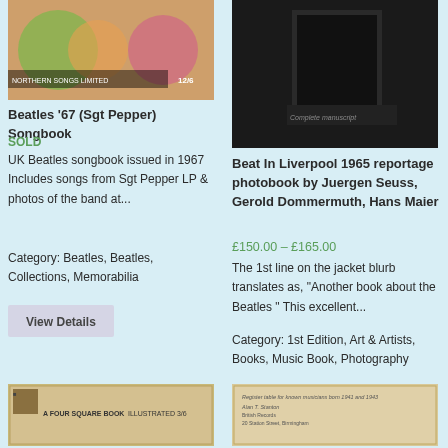[Figure (photo): Beatles '67 Sgt Pepper Songbook cover showing colorful band members, with text 'NORTHERN SONGS LIMITED' and '12/6']
Beatles '67 (Sgt Pepper) Songbook
SOLD
UK Beatles songbook issued in 1967 Includes songs from Sgt Pepper LP & photos of the band at...
Category: Beatles, Beatles, Collections, Memorabilia
View Details
[Figure (photo): Beat In Liverpool 1965 reportage photobook cover, dark image with text]
Beat In Liverpool 1965 reportage photobook by Juergen Seuss, Gerold Dommermuth, Hans Maier
£150.00 – £165.00
The 1st line on the jacket blurb translates as, "Another book about the Beatles "  This excellent...
Category: 1st Edition, Art & Artists, Books, Music Book, Photography
View Details
[Figure (photo): Bottom left book cover showing 'A FOUR SQUARE BOOK ILLUSTRATED 3/6']
[Figure (photo): Bottom right item showing handwritten or printed document]